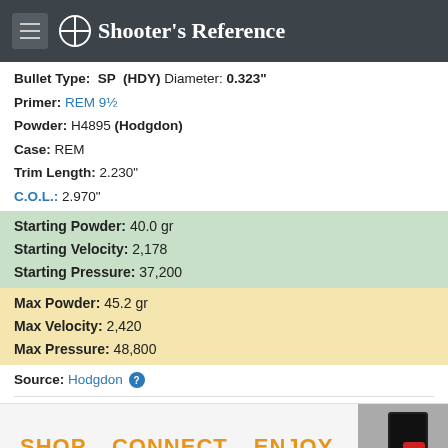Shooter's Reference
Bullet Type: SP (HDY) Diameter: 0.323"
Primer: REM 9½
Powder: H4895 (Hodgdon)
Case: REM
Trim Length: 2.230"
C.O.L.: 2.970"
Starting Powder: 40.0 gr
Starting Velocity: 2,178
Starting Pressure: 37,200
Max Powder: 45.2 gr
Max Velocity: 2,420
Max Pressure: 48,800
Source: Hodgdon
SHOP. CONNECT. ENJOY.
Privacy